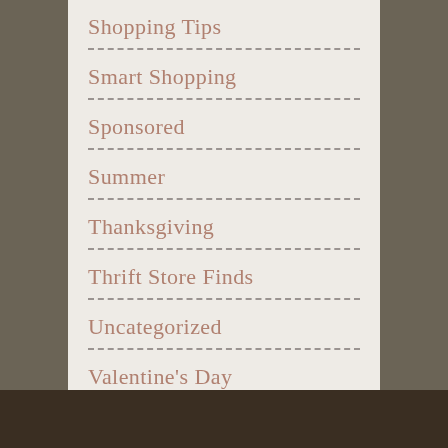Shopping Tips
Smart Shopping
Sponsored
Summer
Thanksgiving
Thrift Store Finds
Uncategorized
Valentine's Day
Winners